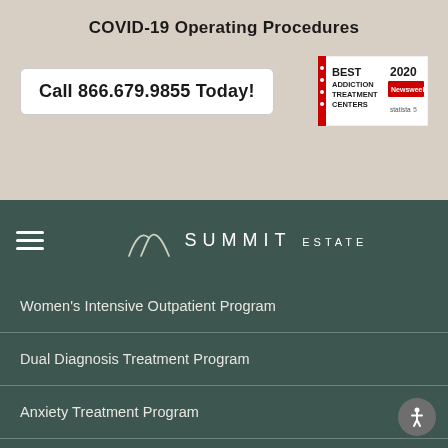COVID-19 Operating Procedures
Call 866.679.9855 Today!
[Figure (logo): Best Addiction Treatment Centers 2020 - Newsweek / Statista award badge]
[Figure (logo): Summit Estate logo with mountain icon, hamburger menu]
Women's Intensive Outpatient Program
Dual Diagnosis Treatment Program
Anxiety Treatment Program
Depression Treatment Program
Telehealth
Continued Care
Aftercare Program